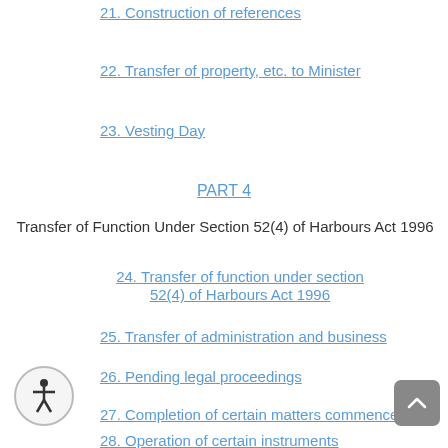21. Construction of references
22. Transfer of property, etc. to Minister
23. Vesting Day
PART 4
Transfer of Function Under Section 52(4) of Harbours Act 1996
24. Transfer of function under section 52(4) of Harbours Act 1996
25. Transfer of administration and business
26. Pending legal proceedings
27. Completion of certain matters commenced
28. Operation of certain instruments